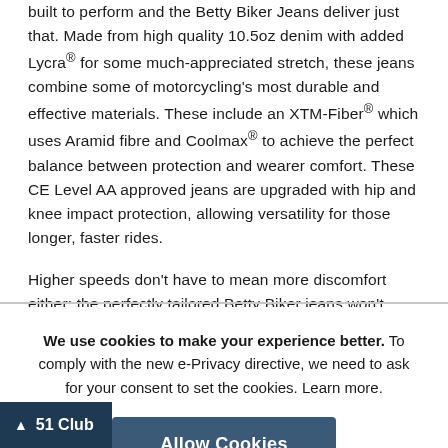built to perform and the Betty Biker Jeans deliver just that. Made from high quality 10.5oz denim with added Lycra® for some much-appreciated stretch, these jeans combine some of motorcycling's most durable and effective materials. These include an XTM-Fiber® which uses Aramid fibre and Coolmax® to achieve the perfect balance between protection and wearer comfort. These CE Level AA approved jeans are upgraded with hip and knee impact protection, allowing versatility for those longer, faster rides.
Higher speeds don't have to mean more discomfort either: the perfectly tailored Betty Biker jeans won't pinch, tug or flap after a few hours of riding with the accordion stretch panelling at the rear providing flex and eliminating gape while on the bike. Low profile, non-restrictive and water repellent, these jeans provide optimal protection, comfort and wearability in any conditions.
We use cookies to make your experience better. To comply with the new e-Privacy directive, we need to ask for your consent to set the cookies. Learn more.
Allow Cookies
51 Club